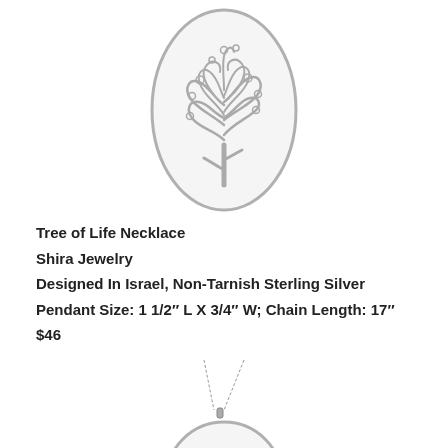[Figure (photo): Sterling silver oval pendant necklace featuring a Tree of Life design with ornate swirling branches against a white background. The pendant is shown close-up without chain.]
Tree of Life Necklace
Shira Jewelry
Designed In Israel, Non-Tarnish Sterling Silver
Pendant Size: 1 1/2" L X 3/4" W; Chain Length: 17"
$46
[Figure (photo): Sterling silver round pendant necklace on a box chain, shown hanging. The pendant features a wave or tree design. Bottom portion of image cut off.]